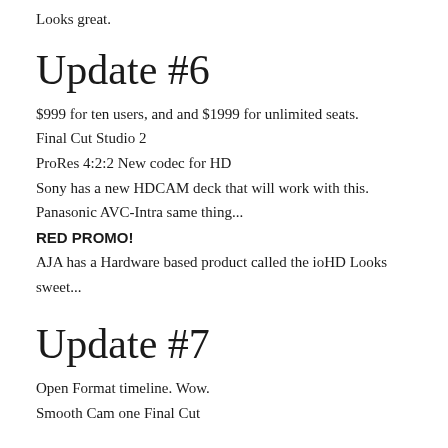Looks great.
Update #6
$999 for ten users, and and $1999 for unlimited seats.
Final Cut Studio 2
ProRes 4:2:2 New codec for HD
Sony has a new HDCAM deck that will work with this.
Panasonic AVC-Intra same thing...
RED PROMO!
AJA has a Hardware based product called the ioHD Looks sweet...
Update #7
Open Format timeline. Wow.
Smooth Cam one Final Cut